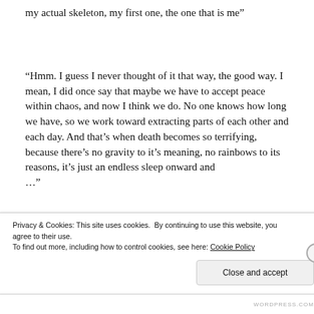“my actual skeleton, my first one, the one that is me”
“Hmm. I guess I never thought of it that way, the good way. I mean, I did once say that maybe we have to accept peace within chaos, and now I think we do. No one knows how long we have, so we work toward extracting parts of each other and each day. And that’s when death becomes so terrifying, because there’s no gravity to it’s meaning, no rainbows to its reasons, it’s just an endless sleep onward and …”
Privacy & Cookies: This site uses cookies. By continuing to use this website, you agree to their use. To find out more, including how to control cookies, see here: Cookie Policy
Close and accept